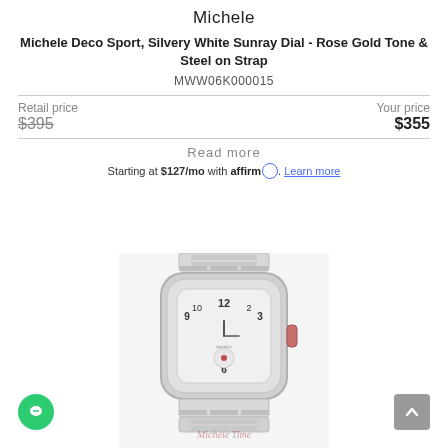Michele
Michele Deco Sport, Silvery White Sunray Dial - Rose Gold Tone & Steel on Strap
MWW06K000015
Retail price $395  Your price $355
Read more
Starting at $127/mo with affirm. Learn more
[Figure (photo): Photo of a Michele Deco Sport watch with diamond-set bezel, silvery white sunray dial with arabic numerals, and steel bracelet. Watermark reads Michele Time.]